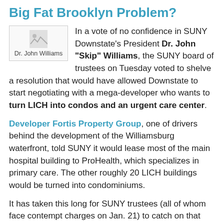Big Fat Brooklyn Problem?
[Figure (photo): Thumbnail image placeholder labeled 'Dr. John Williams']
In a vote of no confidence in SUNY Downstate's President Dr. John "Skip" Williams, the SUNY board of trustees on Tuesday voted to shelve a resolution that would have allowed Downstate to start negotiating with a mega-developer who wants to turn LICH into condos and an urgent care center.
Developer Fortis Property Group, one of drivers behind the development of the Williamsburg waterfront, told SUNY it would lease most of the main hospital building to ProHealth, which specializes in primary care. The other roughly 20 LICH buildings would be turned into condominiums.
It has taken this long for SUNY trustees (all of whom face contempt charges on Jan. 21) to catch on that there is something VERY WRONG at SUNY Downstate, and that they may be left holding the bag after Skip is long gone.
The full story is here...